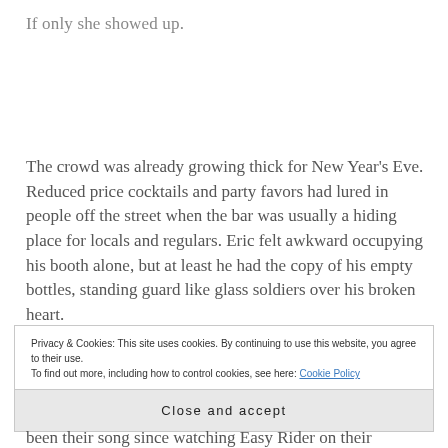If only she showed up.
The crowd was already growing thick for New Year's Eve. Reduced price cocktails and party favors had lured in people off the street when the bar was usually a hiding place for locals and regulars. Eric felt awkward occupying his booth alone, but at least he had the copy of his empty bottles, standing guard like glass soldiers over his broken heart.
Privacy & Cookies: This site uses cookies. By continuing to use this website, you agree to their use.
To find out more, including how to control cookies, see here: Cookie Policy
Close and accept
been their song since watching Easy Rider on their